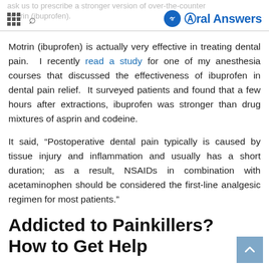ask us to prescribe a stronger version of over-the-counter Motrin (ibuprofen). | Oral Answers
Motrin (ibuprofen) is actually very effective in treating dental pain. I recently read a study for one of my anesthesia courses that discussed the effectiveness of ibuprofen in dental pain relief. It surveyed patients and found that a few hours after extractions, ibuprofen was stronger than drug mixtures of asprin and codeine.
It said, “Postoperative dental pain typically is caused by tissue injury and inflammation and usually has a short duration; as a result, NSAIDs in combination with acetaminophen should be considered the first-line analgesic regimen for most patients.”
Addicted to Painkillers? How to Get Help